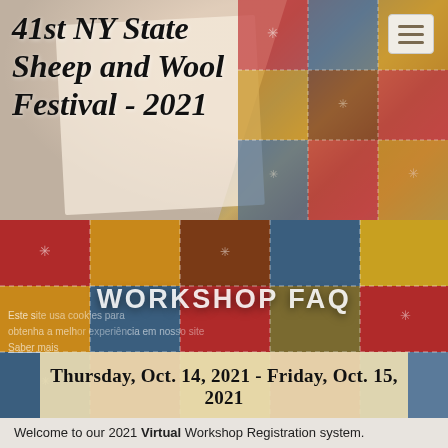41st NY State Sheep and Wool Festival - 2021
[Figure (photo): Background collage image: handmade quilt fabric patches in red, blue, gold, and brown with embroidery stitching, and a blank paper tag or label in the upper area.]
WORKSHOP FAQ
Thursday, Oct. 14, 2021 - Friday, Oct. 15, 2021
Welcome to our 2021 Virtual Workshop Registration system.